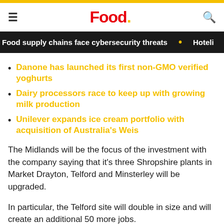Food.
Food supply chains face cybersecurity threats • Hoteli
Danone has launched its first non-GMO verified yoghurts
Dairy processors race to keep up with growing milk production
Unilever expands ice cream portfolio with acquisition of Australia's Weis
The Midlands will be the focus of the investment with the company saying that it's three Shropshire plants in Market Drayton, Telford and Minsterley will be upgraded.
In particular, the Telford site will double in size and will create an additional 50 more jobs.